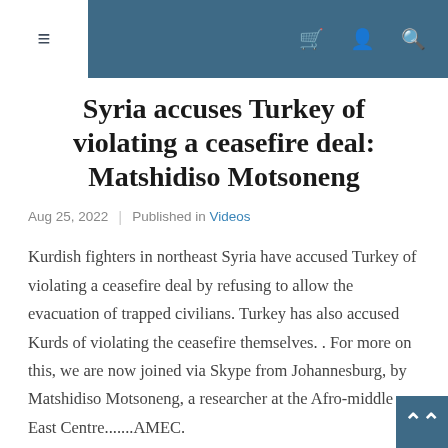≡  🛒  👤  🔍
Syria accuses Turkey of violating a ceasefire deal: Matshidiso Motsoneng
Aug 25, 2022  |  Published in Videos
Kurdish fighters in northeast Syria have accused Turkey of violating a ceasefire deal by refusing to allow the evacuation of trapped civilians. Turkey has also accused Kurds of violating the ceasefire themselves. . For more on this, we are now joined via Skype from Johannesburg, by Matshidiso Motsoneng, a researcher at the Afro-middle East Centre.......AMEC.